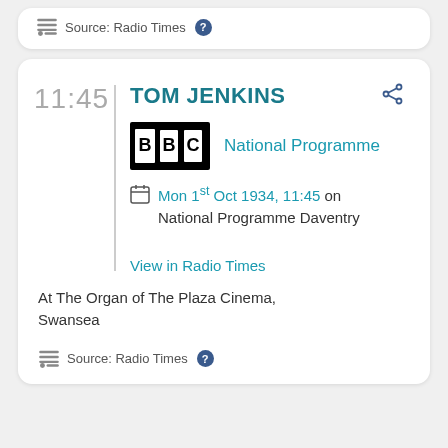Source: Radio Times
TOM JENKINS
National Programme
Mon 1st Oct 1934, 11:45 on National Programme Daventry
View in Radio Times
At The Organ of The Plaza Cinema, Swansea
Source: Radio Times